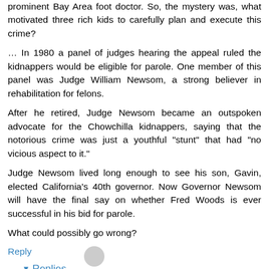prominent Bay Area foot doctor. So, the mystery was, what motivated three rich kids to carefully plan and execute this crime?
… In 1980 a panel of judges hearing the appeal ruled the kidnappers would be eligible for parole. One member of this panel was Judge William Newsom, a strong believer in rehabilitation for felons.
After he retired, Judge Newsom became an outspoken advocate for the Chowchilla kidnappers, saying that the notorious crime was just a youthful "stunt" that had "no vicious aspect to it."
Judge Newsom lived long enough to see his son, Gavin, elected California's 40th governor. Now Governor Newsom will have the final say on whether Fred Woods is ever successful in his bid for parole.

What could possibly go wrong?
Reply
Replies
shelby October 14, 2019 at 7:47 PM